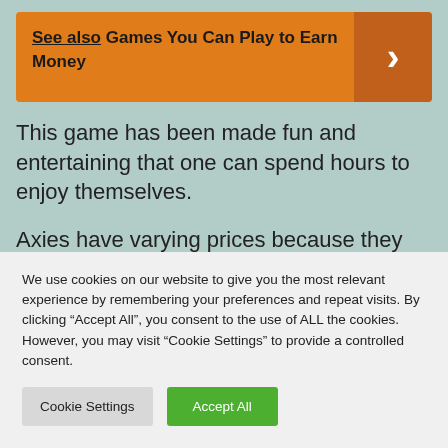[Figure (infographic): Orange 'See also' banner with text 'See also Games You Can Play to Earn Money' and a dark orange arrow button on the right]
This game has been made fun and entertaining that one can spend hours to enjoy themselves.
Axies have varying prices because they have
We use cookies on our website to give you the most relevant experience by remembering your preferences and repeat visits. By clicking "Accept All", you consent to the use of ALL the cookies. However, you may visit "Cookie Settings" to provide a controlled consent.